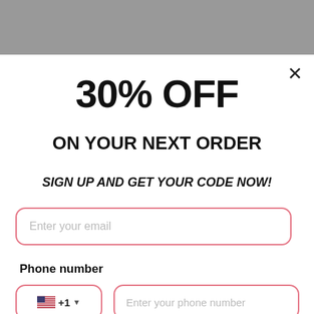[Figure (screenshot): Gray banner at the top of the modal popup]
30% OFF
ON YOUR NEXT ORDER
SIGN UP AND GET YOUR CODE NOW!
Enter your email
Phone number
+1
Enter your phone number